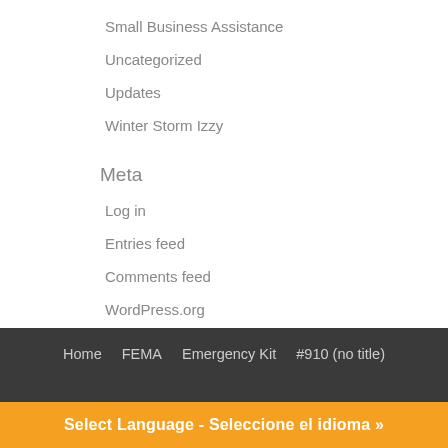Small Business Assistance
Uncategorized
Updates
Winter Storm Izzy
Meta
Log in
Entries feed
Comments feed
WordPress.org
Home   FEMA   Emergency Kit   #910 (no title)
Select Language - Seleccione el idioma »